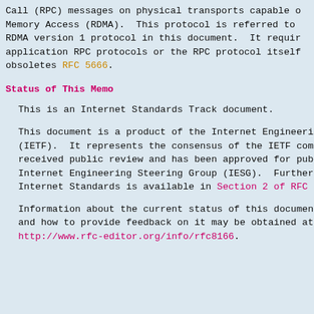Call (RPC) messages on physical transports capable of Remote Direct Memory Access (RDMA).  This protocol is referred to as the RPC-over-RDMA version 1 protocol in this document.  It requires no changes to application RPC protocols or the RPC protocol itself.  This document obsoletes RFC 5666.
Status of This Memo
This is an Internet Standards Track document.
This document is a product of the Internet Engineering Task Force (IETF).  It represents the consensus of the IETF community.  It has received public review and has been approved for publication by the Internet Engineering Steering Group (IESG).  Further information on Internet Standards is available in Section 2 of RFC 7841.
Information about the current status of this document, its errata, and how to provide feedback on it may be obtained at http://www.rfc-editor.org/info/rfc8166.